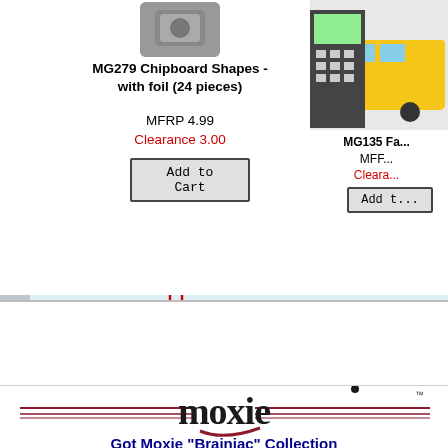[Figure (screenshot): Product page showing MG279 Chipboard Shapes with foil (24 pieces) with MFRP 4.99 and Clearance 3.00, Add to Cart button. Partially visible MG135 product on right. Below is a notebook/ruled paper graphic. Bottom half shows a second product page with Moxie logo and 'Got Moxie Brainiac Collection' heading.]
MG279 Chipboard Shapes - with foil (24 pieces)
MFRP 4.99
Clearance 3.00
Add to Cart
MG135 Fa...
MFF...
Cleara...
Add t...
Got Moxie "Brainiac" Collection
Brainiac Collection Bargain
Get all 6 12 x 12 Cardstocks for 4.80
Bargainpack Price 4.80